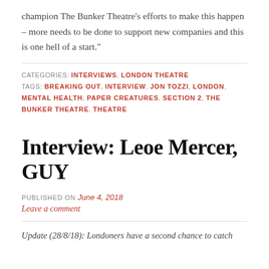champion The Bunker Theatre's efforts to make this happen – more needs to be done to support new companies and this is one hell of a start."
CATEGORIES: INTERVIEWS, LONDON THEATRE
TAGS: BREAKING OUT, INTERVIEW, JON TOZZI, LONDON, MENTAL HEALTH, PAPER CREATURES, SECTION 2, THE BUNKER THEATRE, THEATRE
Interview: Leoe Mercer, GUY
PUBLISHED ON June 4, 2018
Leave a comment
Update (28/8/18): Londoners have a second chance to catch